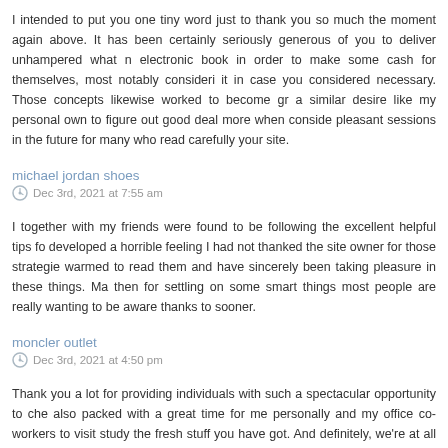I intended to put you one tiny word just to thank you so much the moment again above. It has been certainly seriously generous of you to deliver unhampered what n electronic book in order to make some cash for themselves, most notably consideri it in case you considered necessary. Those concepts likewise worked to become gr a similar desire like my personal own to figure out good deal more when conside pleasant sessions in the future for many who read carefully your site.
michael jordan shoes
Dec 3rd, 2021 at 7:55 am
I together with my friends were found to be following the excellent helpful tips fo developed a horrible feeling I had not thanked the site owner for those strategie warmed to read them and have sincerely been taking pleasure in these things. Ma then for settling on some smart things most people are really wanting to be aware thanks to sooner.
moncler outlet
Dec 3rd, 2021 at 4:50 pm
Thank you a lot for providing individuals with such a spectacular opportunity to che also packed with a great time for me personally and my office co-workers to visit study the fresh stuff you have got. And definitely, we're at all times impressed fo points in this posting are undoubtedly the simplest I have ever had.